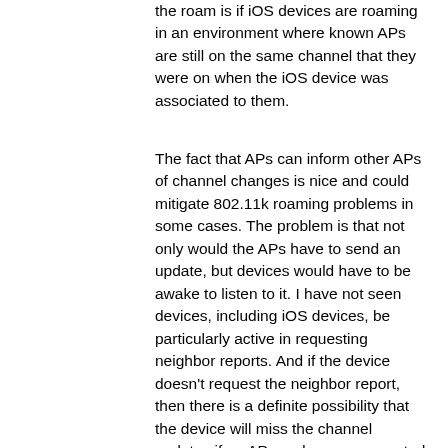the roam is if iOS devices are roaming in an environment where known APs are still on the same channel that they were on when the iOS device was associated to them.
The fact that APs can inform other APs of channel changes is nice and could mitigate 802.11k roaming problems in some cases. The problem is that not only would the APs have to send an update, but devices would have to be awake to listen to it. I have not seen devices, including iOS devices, be particularly active in requesting neighbor reports. And if the device doesn't request the neighbor report, then there is a definite possibility that the device will miss the channel updates if an AP sends an unrequested neighbor report.